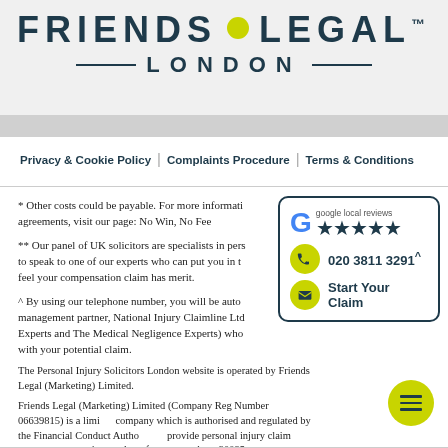[Figure (logo): Friends Legal London logo with yellow dot between FRIENDS and LEGAL and TM mark, with LONDON subtitle flanked by horizontal lines]
Privacy & Cookie Policy | Complaints Procedure | Terms & Conditions
* Other costs could be payable. For more information on our agreements, visit our page: No Win, No Fee
** Our panel of UK solicitors are specialists in personal injury claims. Call to speak to one of our experts who can put you in touch if they feel your compensation claim has merit.
^ By using our telephone number, you will be automatically connected to our management partner, National Injury Claimline Ltd (also known as The Injury Experts and The Medical Negligence Experts) who will be happy to assist you with your potential claim.
The Personal Injury Solicitors London website is operated by Friends Legal (Marketing) Limited.
Friends Legal (Marketing) Limited (Company Reg Number 06639815) is a limited company which is authorised and regulated by the Financial Conduct Authority to provide personal injury claim management services under reference number 830095.